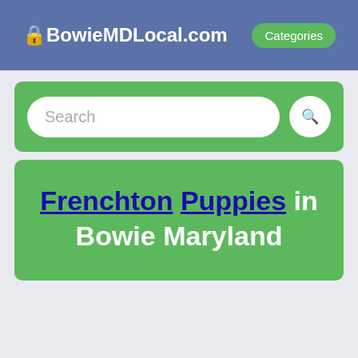🔒BowieMDLocal.com | Categories
[Figure (screenshot): Search bar with text placeholder 'Search' and a search icon button, on a green background]
Frenchton Puppies in Bowie Maryland